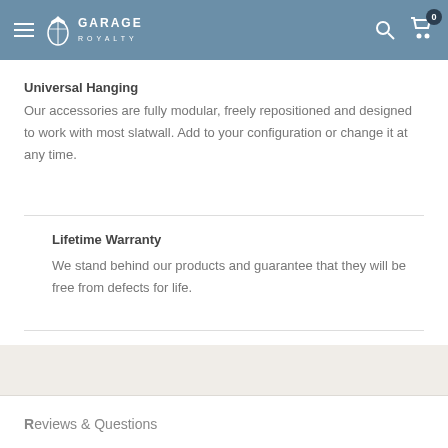Garage Royalty
Universal Hanging
Our accessories are fully modular, freely repositioned and designed to work with most slatwall. Add to your configuration or change it at any time.
Lifetime Warranty
We stand behind our products and guarantee that they will be free from defects for life.